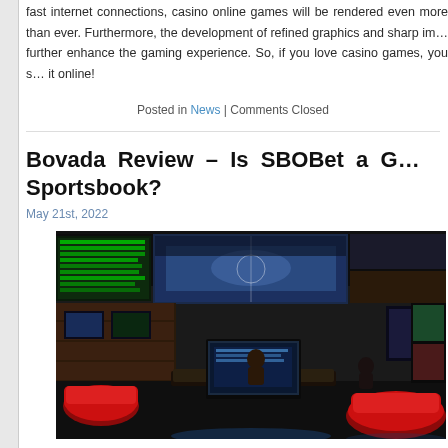fast internet connections, casino online games will be rendered even more than ever. Furthermore, the development of refined graphics and sharp im... further enhance the gaming experience. So, if you love casino games, you s... it online!
Posted in News | Comments Closed
Bovada Review – Is SBOBet a G... Sportsbook?
May 21st, 2022
[Figure (photo): Interior of a large sports betting room with multiple large LED display screens showing sports and betting odds, red chairs, and people seated at workstations with monitors.]